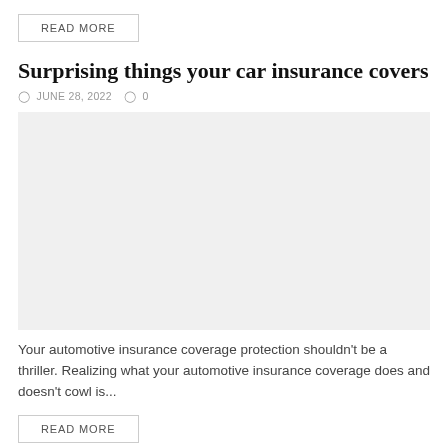READ MORE
Surprising things your car insurance covers
JUNE 28, 2022  0
[Figure (photo): Placeholder image, light grey rectangle]
Your automotive insurance coverage protection shouldn't be a thriller. Realizing what your automotive insurance coverage does and doesn't cowl is...
READ MORE